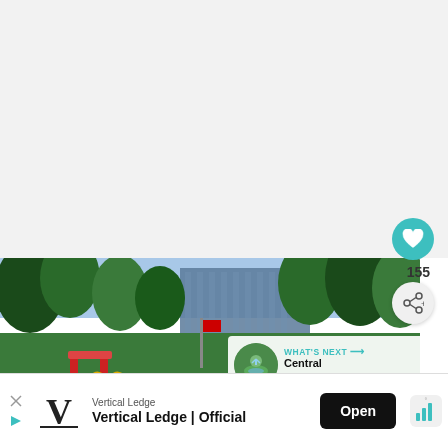[Figure (screenshot): White/light gray blank content area at top of mobile app screen]
[Figure (photo): Outdoor photo of a park with green trees, playground equipment (red/yellow), and a large glass office building in the background against a blue sky]
155
WHAT'S NEXT → Central Memorial Park
[Figure (screenshot): Advertisement banner: Vertical Ledge logo (V), brand name 'Vertical Ledge', tagline 'Vertical Ledge | Official', Open button]